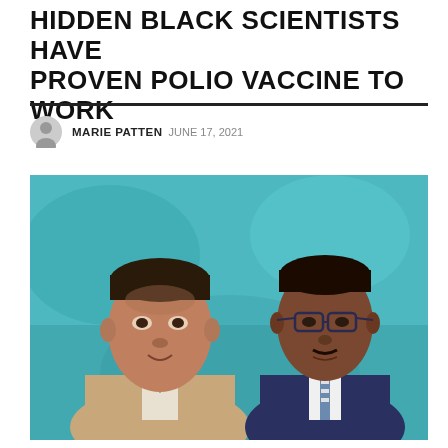HIDDEN BLACK SCIENTISTS HAVE PROVEN POLIO VACCINE TO WORK
MARIE PATTEN  JUNE 17, 2021
[Figure (illustration): A painted portrait illustration of two Black male scientists against a teal/blue background. The man on the left wears a beige suit and navy bow tie; the man on the right wears a dark suit and glasses with a striped tie.]